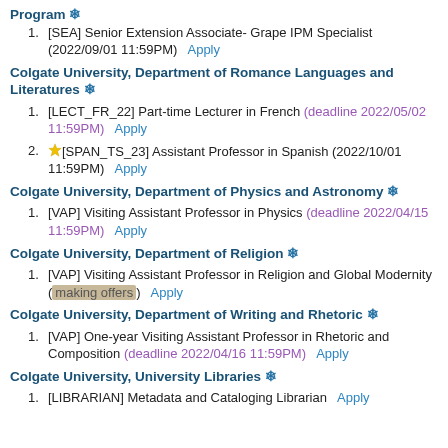Program ❄
[SEA] Senior Extension Associate- Grape IPM Specialist (2022/09/01 11:59PM)   Apply
Colgate University, Department of Romance Languages and Literatures ❄
[LECT_FR_22] Part-time Lecturer in French (deadline 2022/05/02 11:59PM)   Apply
★[SPAN_TS_23] Assistant Professor in Spanish (2022/10/01 11:59PM)   Apply
Colgate University, Department of Physics and Astronomy ❄
[VAP] Visiting Assistant Professor in Physics (deadline 2022/04/15 11:59PM)   Apply
Colgate University, Department of Religion ❄
[VAP] Visiting Assistant Professor in Religion and Global Modernity (making offers)   Apply
Colgate University, Department of Writing and Rhetoric ❄
[VAP] One-year Visiting Assistant Professor in Rhetoric and Composition (deadline 2022/04/16 11:59PM)   Apply
Colgate University, University Libraries ❄
[LIBRARIAN] Metadata and Cataloging Librarian   Apply